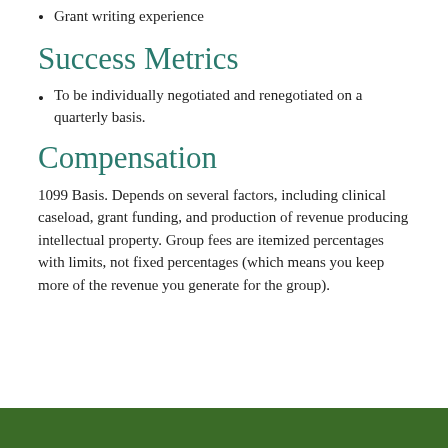Grant writing experience
Success Metrics
To be individually negotiated and renegotiated on a quarterly basis.
Compensation
1099 Basis. Depends on several factors, including clinical caseload, grant funding, and production of revenue producing intellectual property. Group fees are itemized percentages with limits, not fixed percentages (which means you keep more of the revenue you generate for the group).